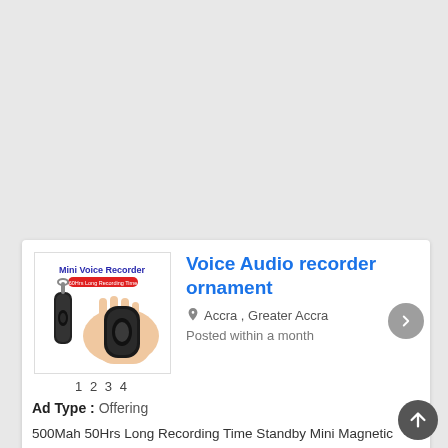[Figure (photo): Product listing card showing a mini voice recorder device — a small black oval device held in a hand, with a keychain-style attachment. Text overlay reads 'Mini Voice Recorder' and '60Hrs Long Recording Time'.]
Voice Audio recorder ornament
Accra , Greater Accra
Posted within a month
1 2 3 4
Ad Type :  Offering
500Mah 50Hrs Long Recording Time Standby Mini Magnetic Activated Voice Audio Recorder Keychian Portable MP3 Player.
8GB storage